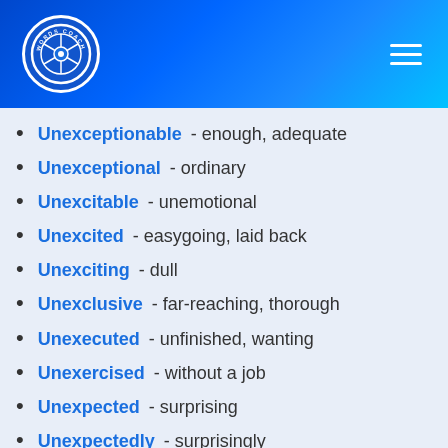[Figure (logo): Words Coach logo — circular blue badge with camera aperture icon and text 'WORDS COACH' around the border]
Unexceptionable - enough, adequate
Unexceptional - ordinary
Unexcitable - unemotional
Unexcited - easygoing, laid back
Unexciting - dull
Unexclusive - far-reaching, thorough
Unexecuted - unfinished, wanting
Unexercised - without a job
Unexpected - surprising
Unexpectedly - surprisingly
Unexperienced - childlike, innocent